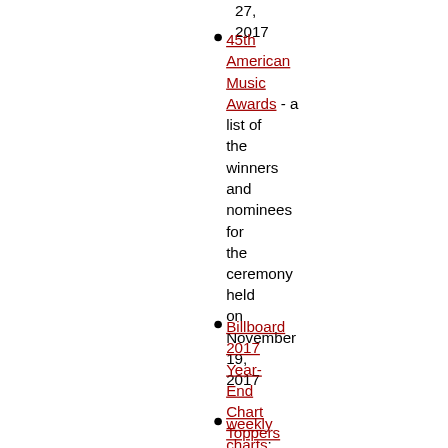27, 2017
45th American Music Awards - a list of the winners and nominees for the ceremony held on November 19, 2017
Billboard 2017 Year-End Chart Toppers
weekly charts: 1/7 -